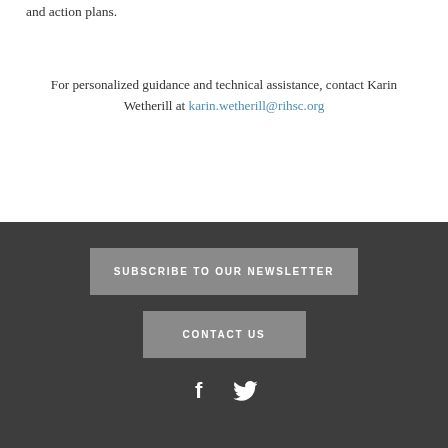and action plans.
For personalized guidance and technical assistance, contact Karin Wetherill at karin.wetherill@rihsc.org
SUBSCRIBE TO OUR NEWSLETTER
CONTACT US
[Figure (illustration): Social media icons: Facebook (f) and Twitter (bird) in white on dark grey background]